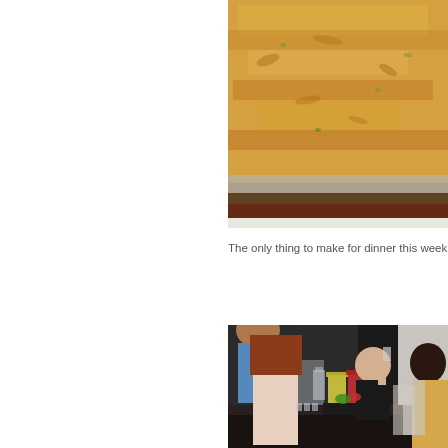[Figure (photo): Close-up photo of a large tray of macaroni and cheese or pasta dish with orange/yellow color, viewed from above in a buffet-style serving pan]
The only thing to make for dinner this week are reservations, they
[Figure (photo): People at a bar/beverage station at an event. A man with curly hair in a blue shirt and a woman with long red/brown hair stand at a dark-colored bar counter. Behind the counter, a bald man in black with glasses pours a drink. There are pitchers of yellow and red drinks, glasses, and food items on the counter. A woman with dark hair and a floral top stands to the right.]